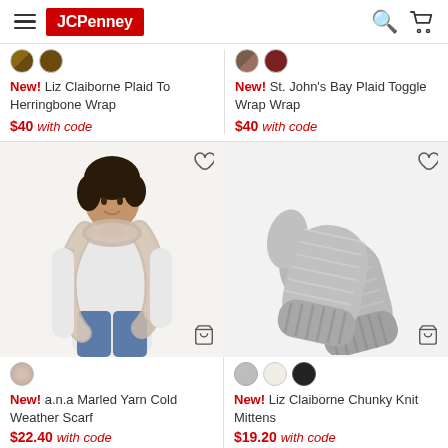JCPenney
New! Liz Claiborne Plaid To Herringbone Wrap
$40 with code
New! St. John's Bay Plaid Toggle Wrap Wrap
$40 with code
[Figure (photo): Woman wearing a marled yarn knit scarf over a white long sleeve shirt and blue jeans]
[Figure (photo): A pair of gray chunky knit mittens/gloves]
New! a.n.a Marled Yarn Cold Weather Scarf
$22.40 with code
New! Liz Claiborne Chunky Knit Mittens
$19.20 with code